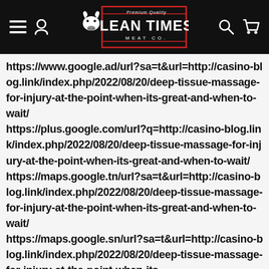[Figure (logo): Lean Times Meat Co. logo — white text on black background with red border box and cow icon]
https://www.google.ad/url?sa=t&url=http://casino-blog.link/index.php/2022/08/20/deep-tissue-massage-for-injury-at-the-point-when-its-great-and-when-to-wait/
https://plus.google.com/url?q=http://casino-blog.link/index.php/2022/08/20/deep-tissue-massage-for-injury-at-the-point-when-its-great-and-when-to-wait/
https://maps.google.tn/url?sa=t&url=http://casino-blog.link/index.php/2022/08/20/deep-tissue-massage-for-injury-at-the-point-when-its-great-and-when-to-wait/
https://maps.google.sn/url?sa=t&url=http://casino-blog.link/index.php/2022/08/20/deep-tissue-massage-for-injury-at-the-point-when-its-massage-for-injury-at-the-point-when-its-